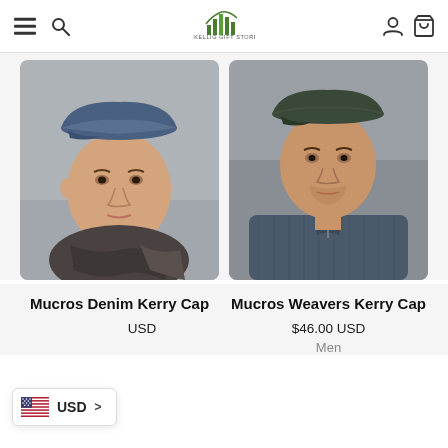Skellig Gift Store navigation header
[Figure (photo): Man wearing a blue denim flat cap with a scarf — product photo for Mucros Denim Kerry Cap]
[Figure (photo): Man wearing a dark tweed flat cap with a knit sweater — product photo for Mucros Weavers Kerry Cap]
Mucros Denim Kerry Cap
$46.00 USD
Mucros Weavers Kerry Cap
$46.00 USD
Men
USD >